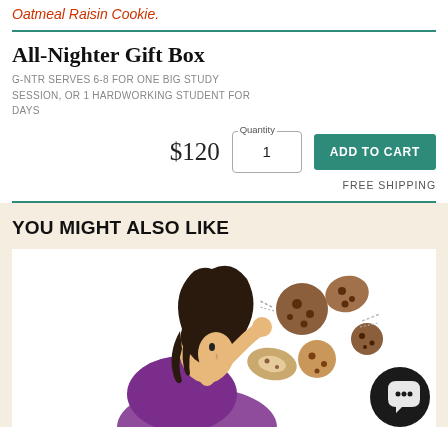Oatmeal Raisin Cookie.
All-Nighter Gift Box
G-NTR SERVES 6-8 FOR ONE BIG STUDY SESSION, OR 1 HARDWORKING STUDENT FOR DAYS
$120   Quantity: 1   ADD TO CART
FREE SHIPPING
YOU MIGHT ALSO LIKE
[Figure (illustration): Cartoon illustration of a person being surrounded by cookies and baked goods, with a purple background element. A circular chat button appears in the bottom right corner.]